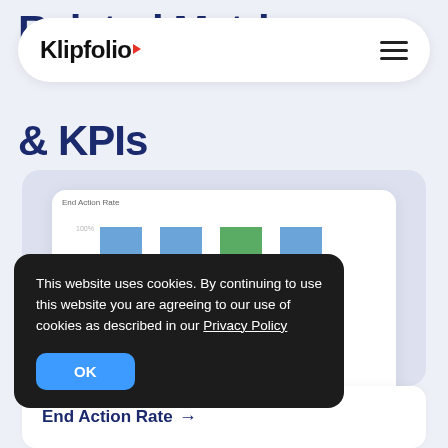Klipfolio
Related Metrics & KPIs
[Figure (stacked-bar-chart): Stacked bar chart showing End Action Rate with blue, green, yellow, purple, and lime color segments across multiple bars. Y-axis shows 100%, 75%, 60%.]
This website uses cookies. By continuing to use this website you are agreeing to our use of cookies as described in our Privacy Policy
OK
End Action Rate →